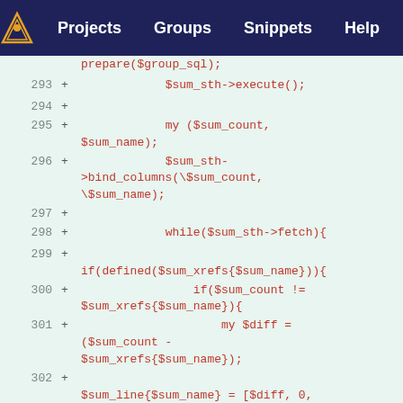Projects  Groups  Snippets  Help  ...
[Figure (screenshot): GitLab code diff viewer showing lines 293-303 of a Perl script with added lines highlighted in green. Code includes $sum_sth->execute(), my ($sum_count, $sum_name), $sum_sth->bind_columns(\$sum_count, \$sum_name), while($sum_sth->fetch){ if(defined($sum_xrefs{$sum_name})){ if($sum_count != $sum_xrefs{$sum_name}){ my $diff = ($sum_count - $sum_xrefs{$sum_name}); $sum_line{$sum_name} = [$diff, 0, 0, 0, 0, 0]; }]